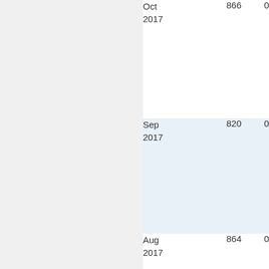| Oct 2017 | 866 | 0 |
| Sep 2017 | 820 | 0 |
| Aug 2017 | 864 | 0 |